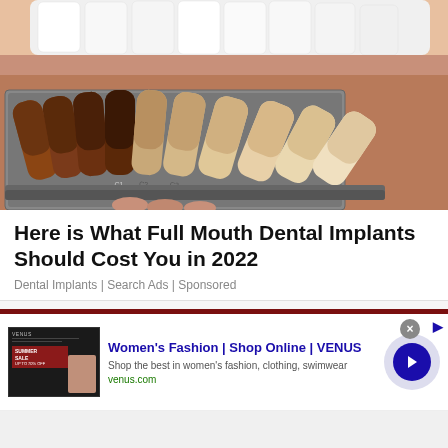[Figure (photo): Close-up photo of a person smiling showing white teeth, with a dental tooth shade chart held up in front comparing various shades labeled B1, B4, C1, C2, C3 and others in brown to cream tones.]
Here is What Full Mouth Dental Implants Should Cost You in 2022
Dental Implants | Search Ads | Sponsored
[Figure (screenshot): Online advertisement for Women's Fashion at VENUS. Shows a thumbnail image of VENUS website with a Summer Sale banner. Ad title: Women's Fashion | Shop Online | VENUS. Description: Shop the best in women's fashion, clothing, swimwear. URL: venus.com. Has a blue circular arrow button and a close X button.]